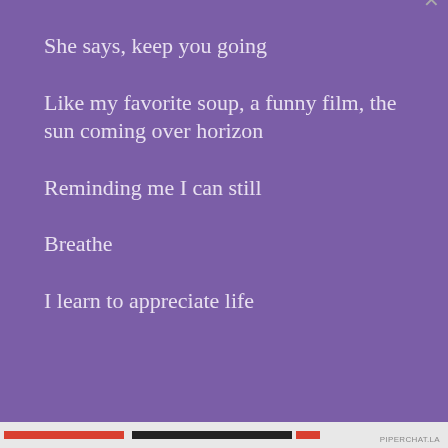She says, keep you going
Like my favorite soup, a funny film, the sun coming over horizon
Reminding me I can still
Breathe
I learn to appreciate life
Privacy & Cookies: This site uses cookies. By continuing to use this website, you agree to their use.
To find out more, including how to control cookies, see here: Cookie Policy
Close and accept